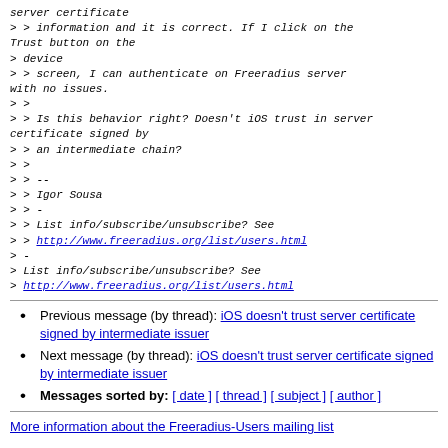server certificate
> > information and it is correct. If I click on the Trust button on the
> device
> > screen, I can authenticate on Freeradius server with no issues.
> >
> > Is this behavior right? Doesn't iOS trust in server certificate signed by
> > an intermediate chain?
> >
> > --
> > Igor Sousa
> > -
> > List info/subscribe/unsubscribe? See
> > http://www.freeradius.org/list/users.html
> -
> List info/subscribe/unsubscribe? See
> http://www.freeradius.org/list/users.html
Previous message (by thread): iOS doesn't trust server certificate signed by intermediate issuer
Next message (by thread): iOS doesn't trust server certificate signed by intermediate issuer
Messages sorted by: [ date ] [ thread ] [ subject ] [ author ]
More information about the Freeradius-Users mailing list